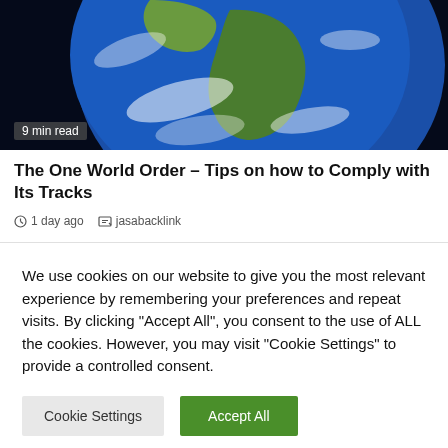[Figure (photo): Photo of Earth from space showing South America and clouds on dark background, with '9 min read' overlay text in bottom left]
The One World Order – Tips on how to Comply with Its Tracks
1 day ago   jasabacklink
We use cookies on our website to give you the most relevant experience by remembering your preferences and repeat visits. By clicking "Accept All", you consent to the use of ALL the cookies. However, you may visit "Cookie Settings" to provide a controlled consent.